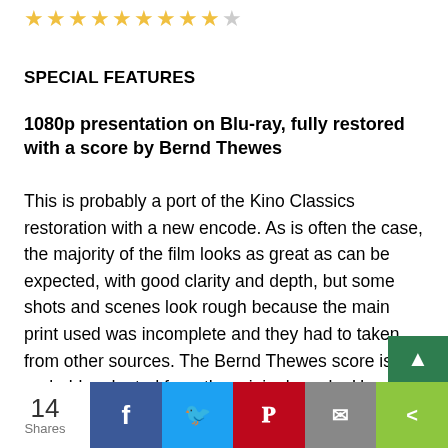[Figure (other): Star rating row: approximately 8.5 out of 10 gold stars, with the last star partially filled/empty]
SPECIAL FEATURES
1080p presentation on Blu-ray, fully restored with a score by Bernd Thewes
This is probably a port of the Kino Classics restoration with a new encode. As is often the case, the majority of the film looks as great as can be expected, with good clarity and depth, but some shots and scenes look rough because the main print used was incomplete and they had to taken from other sources. The Bernd Thewes score is probably adapted from the original one by Hans May. It has many distinct themes and motifs as a Tchaikovsky/Shostakovich vibe in the Crimea scenes gives way to a more modern sensibility with beats, lighter melodies and a rather
[Figure (other): Green scroll-to-top button with upward arrow]
[Figure (other): Social share bar showing: 14 Shares, Facebook (blue), Twitter (blue), Pinterest (red), Email (grey), Share (green)]